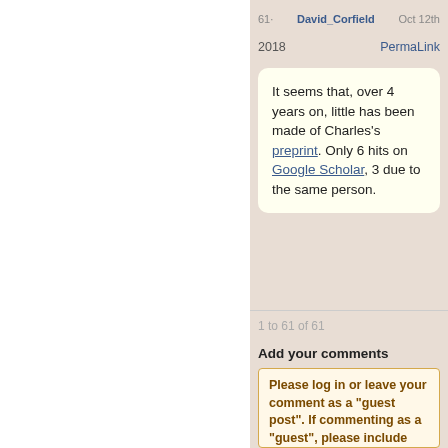61 David_Corfield Oct 12th 2018 PermaLink
It seems that, over 4 years on, little has been made of Charles's preprint. Only 6 hits on Google Scholar, 3 due to the same person.
1 to 61 of 61
Add your comments
Please log in or leave your comment as a "guest post". If commenting as a "guest", please include your name in the message as a courtesy. Note: only certain categories allow guest